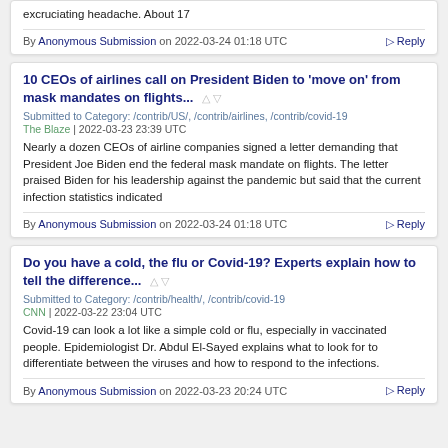excruciating headache. About 17
By Anonymous Submission on 2022-03-24 01:18 UTC   Reply
10 CEOs of airlines call on President Biden to 'move on' from mask mandates on flights...
Submitted to Category: /contrib/US/, /contrib/airlines, /contrib/covid-19
The Blaze | 2022-03-23 23:39 UTC
Nearly a dozen CEOs of airline companies signed a letter demanding that President Joe Biden end the federal mask mandate on flights. The letter praised Biden for his leadership against the pandemic but said that the current infection statistics indicated
By Anonymous Submission on 2022-03-24 01:18 UTC   Reply
Do you have a cold, the flu or Covid-19? Experts explain how to tell the difference...
Submitted to Category: /contrib/health/, /contrib/covid-19
CNN | 2022-03-22 23:04 UTC
Covid-19 can look a lot like a simple cold or flu, especially in vaccinated people. Epidemiologist Dr. Abdul El-Sayed explains what to look for to differentiate between the viruses and how to respond to the infections.
By Anonymous Submission on 2022-03-23 20:24 UTC   Reply